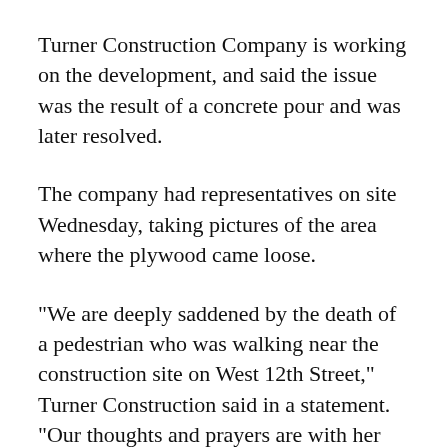Turner Construction Company is working on the development, and said the issue was the result of a concrete pour and was later resolved.
The company had representatives on site Wednesday, taking pictures of the area where the plywood came loose.
"We are deeply saddened by the death of a pedestrian who was walking near the construction site on West 12th Street," Turner Construction said in a statement. "Our thoughts and prayers are with her family during this very difficult time. Safety on and around our jobsites is always our number one priority. We are conducting an investigation into the circumstances of the incident. We are also fully